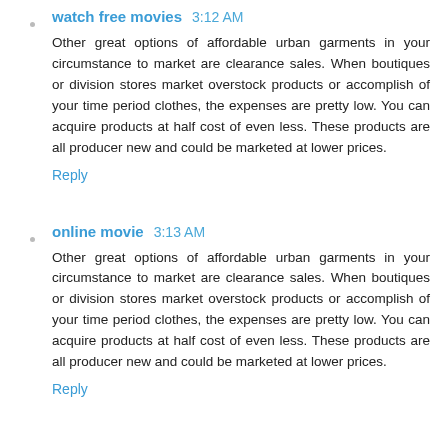watch free movies  3:12 AM
Other great options of affordable urban garments in your circumstance to market are clearance sales. When boutiques or division stores market overstock products or accomplish of your time period clothes, the expenses are pretty low. You can acquire products at half cost of even less. These products are all producer new and could be marketed at lower prices.
Reply
online movie  3:13 AM
Other great options of affordable urban garments in your circumstance to market are clearance sales. When boutiques or division stores market overstock products or accomplish of your time period clothes, the expenses are pretty low. You can acquire products at half cost of even less. These products are all producer new and could be marketed at lower prices.
Reply